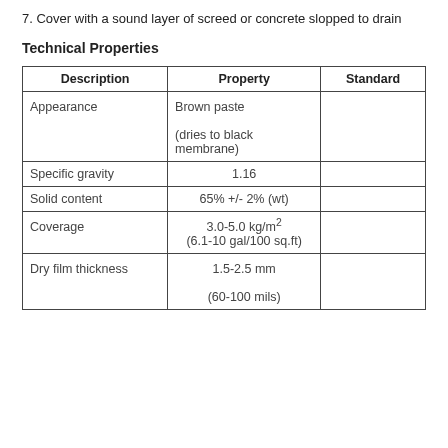7. Cover with a sound layer of screed or concrete slopped to drain
Technical Properties
| Description | Property | Standard |
| --- | --- | --- |
| Appearance | Brown paste

(dries to black membrane) |  |
| Specific gravity | 1.16 |  |
| Solid content | 65% +/- 2% (wt) |  |
| Coverage | 3.0-5.0 kg/m²
(6.1-10 gal/100 sq.ft) |  |
| Dry film thickness | 1.5-2.5 mm

(60-100 mils) |  |